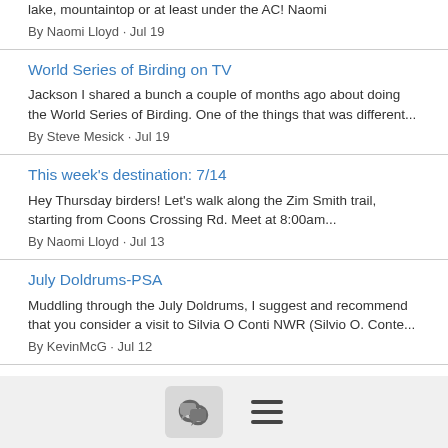lake, mountaintop or at least under the AC! Naomi
By Naomi Lloyd · Jul 19
World Series of Birding on TV
Jackson I shared a bunch a couple of months ago about doing the World Series of Birding. One of the things that was different...
By Steve Mesick · Jul 19
This week's destination: 7/14
Hey Thursday birders! Let's walk along the Zim Smith trail, starting from Coons Crossing Rd. Meet at 8:00am...
By Naomi Lloyd · Jul 13
July Doldrums-PSA
Muddling through the July Doldrums, I suggest and recommend that you consider a visit to Silvia O Conti NWR (Silvio O. Conte...
By KevinMcG · Jul 12
Hudson-Mohawk Bird Club - July 2022 board